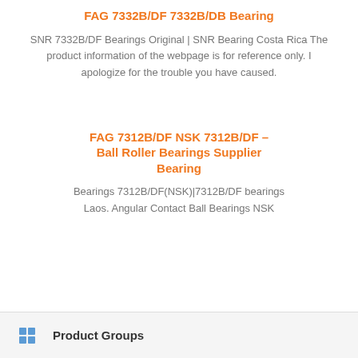FAG 7332B/DF 7332B/DB Bearing
SNR 7332B/DF Bearings Original | SNR Bearing Costa Rica The product information of the webpage is for reference only. I apologize for the trouble you have caused.
FAG 7312B/DF NSK 7312B/DF – Ball Roller Bearings Supplier Bearing
Bearings 7312B/DF(NSK)|7312B/DF bearings Laos. Angular Contact Ball Bearings NSK
Product Groups